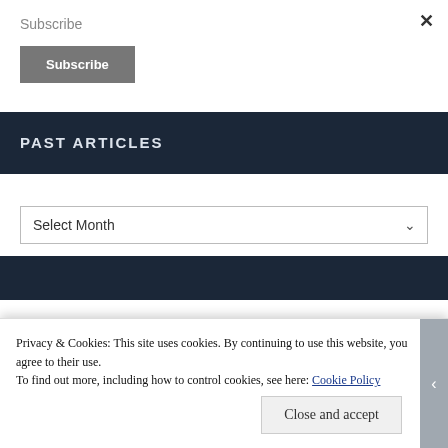Subscribe
Subscribe
PAST ARTICLES
Select Month
Privacy & Cookies: This site uses cookies. By continuing to use this website, you agree to their use.
To find out more, including how to control cookies, see here: Cookie Policy
Close and accept